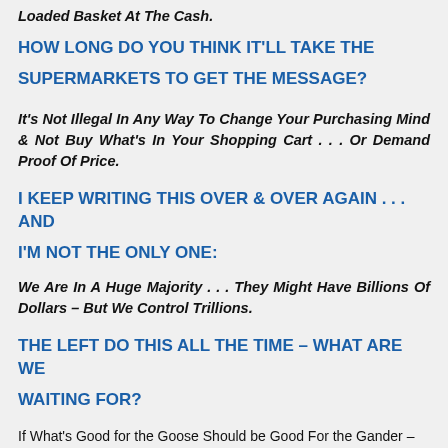Loaded Basket At The Cash.
HOW LONG DO YOU THINK IT'LL TAKE THE SUPERMARKETS TO GET THE MESSAGE?
It's Not Illegal In Any Way To Change Your Purchasing Mind & Not Buy What's In Your Shopping Cart . . . Or Demand Proof Of Price.
I KEEP WRITING THIS OVER & OVER AGAIN . . . AND I'M NOT THE ONLY ONE:
We Are In A Huge Majority . . . They Might Have Billions Of Dollars – But We Control Trillions.
THE LEFT DO THIS ALL THE TIME – WHAT ARE WE WAITING FOR?
If What's Good for the Goose Should be Good For the Gander – Why Don't We All Become Geese . . . And use